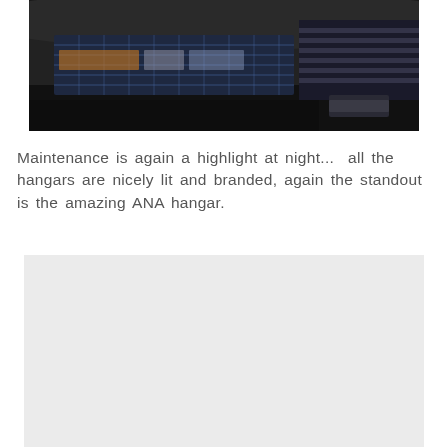[Figure (photo): Aerial night view of airport maintenance hangars with illuminated blue-tinted glass facades and dark surroundings, showing building rooftops and aircraft apron area.]
Maintenance is again a highlight at night...  all the hangars are nicely lit and branded, again the standout is the amazing ANA hangar.
[Figure (photo): A light gray placeholder image area representing a second nighttime airport/hangar photograph.]